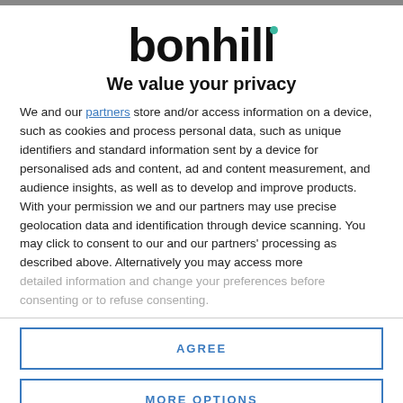[Figure (logo): Bonhill logo: bold black text 'bonhill' with a small teal/green dot above the second 'l']
We value your privacy
We and our partners store and/or access information on a device, such as cookies and process personal data, such as unique identifiers and standard information sent by a device for personalised ads and content, ad and content measurement, and audience insights, as well as to develop and improve products. With your permission we and our partners may use precise geolocation data and identification through device scanning. You may click to consent to our and our partners' processing as described above. Alternatively you may access more detailed information and change your preferences before consenting or to refuse consenting.
AGREE
MORE OPTIONS
[Figure (photo): Bottom portion of a photograph showing a building or cityscape scene]